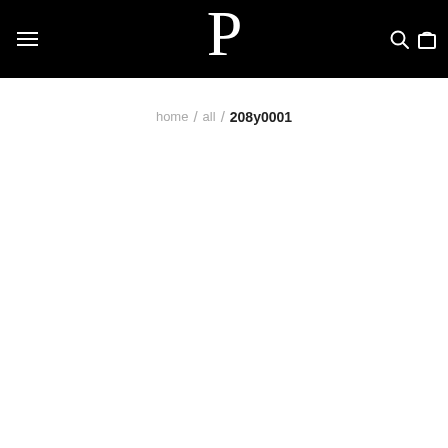P — navigation header with hamburger menu, logo P, search and cart icons
home / all / 208y0001